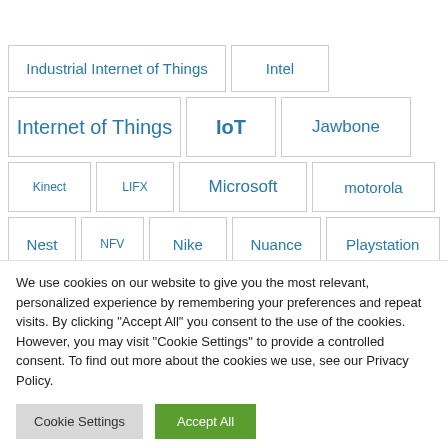Industrial Internet of Things
Intel
Internet of Things
IoT
Jawbone
Kinect
LIFX
Microsoft
motorola
Nest
NFV
Nike
Nuance
Playstation
Qualcomm
revolv
Samsung
SDN
We use cookies on our website to give you the most relevant, personalized experience by remembering your preferences and repeat visits. By clicking "Accept All" you consent to the use of the cookies. However, you may visit "Cookie Settings" to provide a controlled consent. To find out more about the cookies we use, see our Privacy Policy.